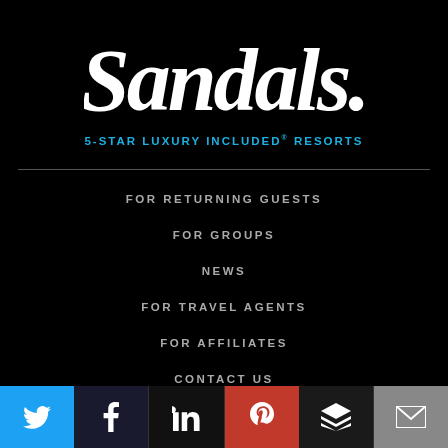[Figure (logo): Sandals Resorts logo in white cursive script with tagline '5-STAR LUXURY INCLUDED® RESORTS' in cyan below]
FOR RETURNING GUESTS
FOR GROUPS
NEWS
FOR TRAVEL AGENTS
FOR AFFILIATES
CONTACT US
REQUEST A BROCHURE
[Figure (infographic): Social media icon bar with Twitter (blue), Facebook (dark), LinkedIn (dark), Pinterest (red), Buffer (dark), Email (gray)]